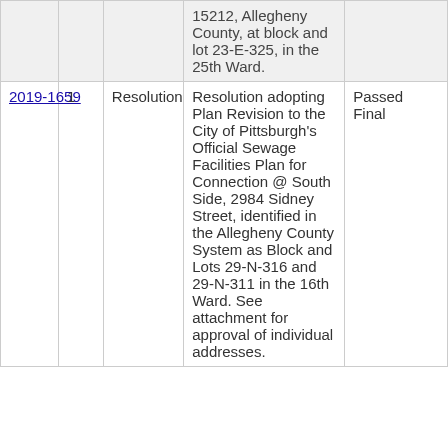|  |  | Resolution |  |  |
| --- | --- | --- | --- | --- |
|  |  |  | 15212, Allegheny County, at block and lot 23-E-325, in the 25th Ward. |  |
| 2019-1659 | 1 | Resolution | Resolution adopting Plan Revision to the City of Pittsburgh's Official Sewage Facilities Plan for Connection @ South Side, 2984 Sidney Street, identified in the Allegheny County System as Block and Lots 29-N-316 and 29-N-311 in the 16th Ward. See attachment for approval of individual addresses. | Passed Final |